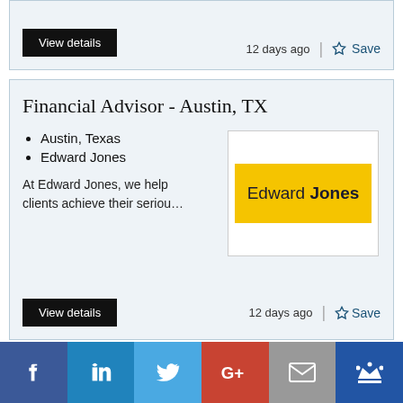[Figure (screenshot): Top partial job listing card showing View details button, 12 days ago and Save link]
Financial Advisor - Austin, TX
Austin, Texas
Edward Jones
At Edward Jones, we help clients achieve their seriou…
[Figure (logo): Edward Jones logo on yellow background]
12 days ago
Save
Branch Office Administrator -
[Figure (infographic): Social media sharing bar with Facebook, LinkedIn, Twitter, Google+, Email, and crown icon buttons]